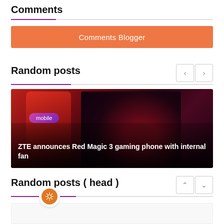Comments
Comments Blogger
Random posts
[Figure (photo): Red gaming smartphone (ZTE Red Magic 3) shown from front and back, with a 'mobile' category badge and white title text overlaid on a dark image.]
ZTE announces Red Magic 3 gaming phone with internal fan
Random posts ( head )